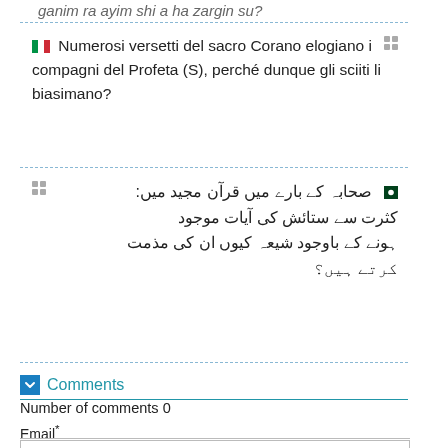ganim ra ayim shi a ha zargin su?
🇮🇹 Numerosi versetti del sacro Corano elogiano i compagni del Profeta (S), perché dunque gli sciiti li biasimano?
🇵🇰 صحابہ کے بارے میں قرآن مجید میں: کثرت سے ستائش کی آیات موجود ہونے کے باوجود شیعہ کیوں ان کی مذمت کرتے ہیں؟
Comments
Number of comments 0
Email*
Comments*